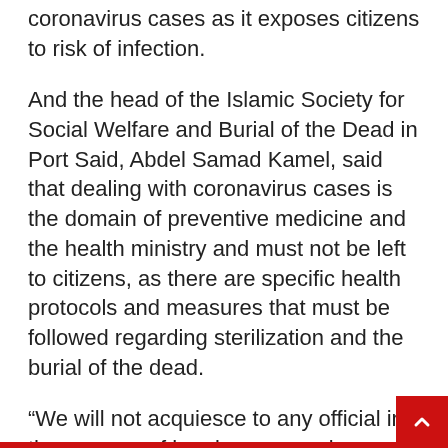coronavirus cases as it exposes citizens to risk of infection.
And the head of the Islamic Society for Social Welfare and Burial of the Dead in Port Said, Abdel Samad Kamel, said that dealing with coronavirus cases is the domain of preventive medicine and the health ministry and must not be left to citizens, as there are specific health protocols and measures that must be followed regarding sterilization and the burial of the dead.
“We will not acquiesce to any official in the process of burying coronavirus deaths, because it is not our role according to health protocols, as we deal daily with hundreds of people and will not allow them to be infected,”